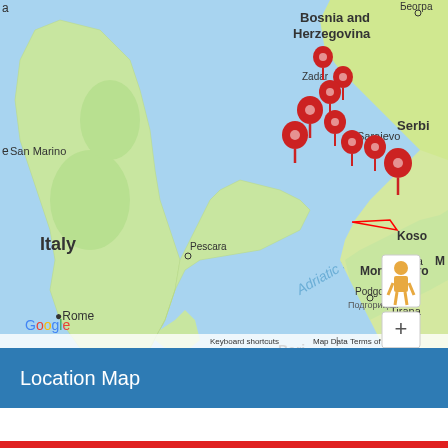[Figure (map): Google Map showing the Adriatic Sea region including Italy, Bosnia and Herzegovina, Montenegro, Serbia, Albania, with multiple red location markers clustered along the Dalmatian coast (Croatia), connected by red lines. Visible city labels: Zadar, Sarajevo, Podgorica, Tirana, Rome, Naples, Pescara, Salerno, Bari, Matera, Taranto, Brindisi, Lecce, Corfu, San Marino. Map controls visible: Google logo, Keyboard shortcuts, Map Data, Terms of Use, zoom in/out buttons, and pegman street view icon.]
Location Map